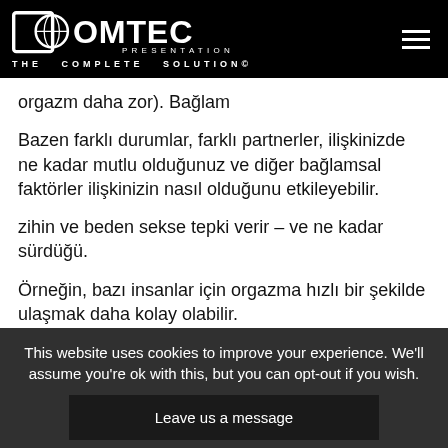[Figure (logo): Comtec Presentations logo with globe icon and tagline THE COMPLETE SOLUTION®]
orgazm daha zor). Bağlam
Bazen farklı durumlar, farklı partnerler, ilişkinizde ne kadar mutlu olduğunuz ve diğer bağlamsal faktörler ilişkinizin nasıl olduğunu etkileyebilir.
zihin ve beden sekse tepki verir – ve ne kadar sürdüğü.
Örneğin, bazı insanlar için orgazma hızlı bir şekilde ulaşmak daha kolay olabilir.
This website uses cookies to improve your experience. We'll assume you're ok with this, but you can opt-out if you wish.
Leave us a message